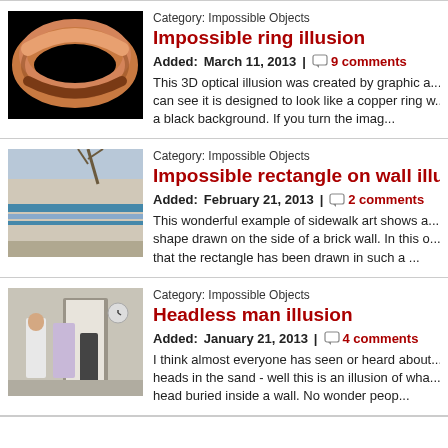[Figure (photo): Copper-colored impossible ring on black background]
Category: Impossible Objects
Impossible ring illusion
Added: March 11, 2013 | 9 comments
This 3D optical illusion was created by graphic a... can see it is designed to look like a copper ring w... a black background. If you turn the imag...
[Figure (photo): Photo of an impossible rectangle shape drawn on the side of a brick wall]
Category: Impossible Objects
Impossible rectangle on wall illusion
Added: February 21, 2013 | 2 comments
This wonderful example of sidewalk art shows a... shape drawn on the side of a brick wall. In this o... that the rectangle has been drawn in such a ...
[Figure (photo): Photo of two people walking into a building, one appears headless]
Category: Impossible Objects
Headless man illusion
Added: January 21, 2013 | 4 comments
I think almost everyone has seen or heard about... heads in the sand - well this is an illusion of wha... head buried inside a wall. No wonder peop...